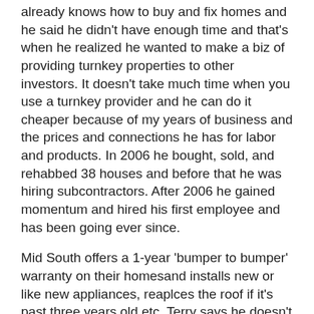already knows how to buy and fix homes and he said he didn't have enough time and that's when he realized he wanted to make a biz of providing turnkey properties to other investors. It doesn't take much time when you use a turnkey provider and he can do it cheaper because of my years of business and the prices and connections he has for labor and products. In 2006 he bought, sold, and rehabbed 38 houses and before that he was hiring subcontractors. After 2006 he gained momentum and hired his first employee and has been going ever since.
Mid South offers a 1-year 'bumper to bumper' warranty on their homesand installs new or like new appliances, reaplces the roof if it's past three years old,etc. Terry says he doesn't rehab a house to any standard below what he'd live in. He shared that the beauty of turnkey is you buy the house, they handle the managing of it and you receive a check every month.
He's found success with his formula because he says he enters every job with the mentality of wanting everyone